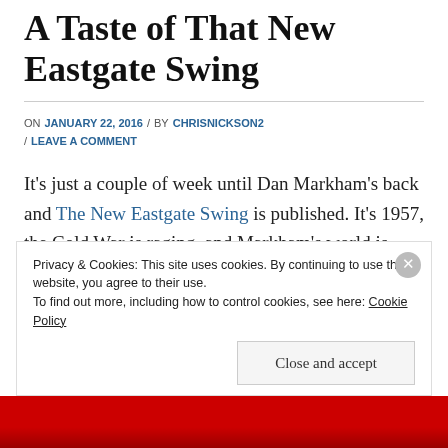A Taste of That New Eastgate Swing
ON JANUARY 22, 2016 / BY CHRISNICKSON2 / LEAVE A COMMENT
It’s just a couple of week until Dan Markham’s back and The New Eastgate Swing is published. It’s 1957, the Cold War is raging, and Markham’s world is going to change. Read about it here…and if you’re in Leeds
Privacy & Cookies: This site uses cookies. By continuing to use this website, you agree to their use.
To find out more, including how to control cookies, see here: Cookie Policy
Close and accept